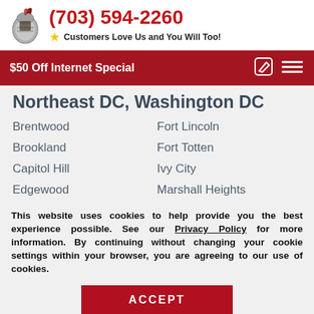(703) 594-2260 — Customers Love Us and You Will Too!
$50 Off Internet Special
Northeast DC, Washington DC
Brentwood
Fort Lincoln
Brookland
Fort Totten
Capitol Hill
Ivy City
Edgewood
Marshall Heights
This website uses cookies to help provide you the best experience possible. See our Privacy Policy for more information. By continuing without changing your cookie settings within your browser, you are agreeing to our use of cookies.